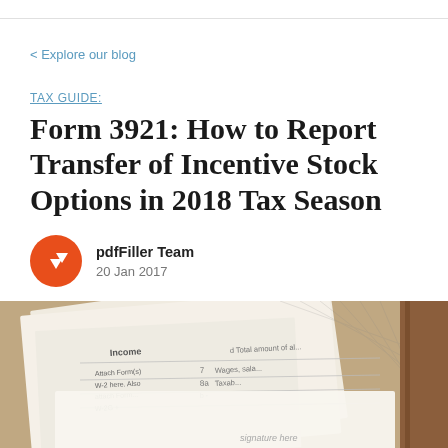< Explore our blog
TAX GUIDE:
Form 3921: How to Report Transfer of Incentive Stock Options in 2018 Tax Season
pdfFiller Team
20 Jan 2017
[Figure (photo): Close-up photo of a tax income form showing fields for Income, Wages, and other entries]